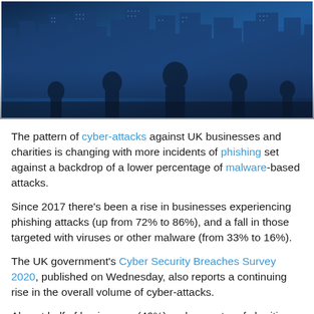[Figure (photo): City skyline with silhouettes of people walking, double-exposure style photo with a blue toned office/financial district background and blurred human figures in the foreground]
The pattern of cyber-attacks against UK businesses and charities is changing with more incidents of phishing set against a backdrop of a lower percentage of malware-based attacks.
Since 2017 there's been a rise in businesses experiencing phishing attacks (up from 72% to 86%), and a fall in those targeted with viruses or other malware (from 33% to 16%).
The UK government's Cyber Security Breaches Survey 2020, published on Wednesday, also reports a continuing rise in the overall volume of cyber-attacks.
Almost half of businesses (46%) and a quarter of charities (26%) report falling prey to cyber-attacks or breaches.